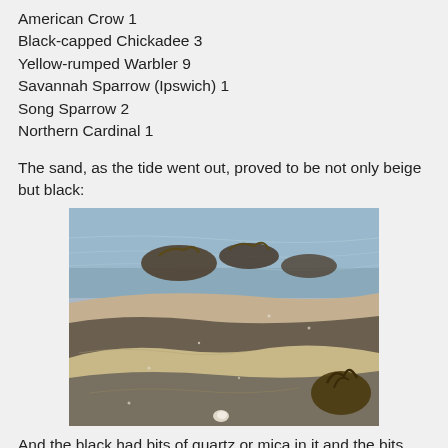American Crow  1
Black-capped Chickadee  3
Yellow-rumped Warbler  9
Savannah Sparrow (Ipswich)  1
Song Sparrow  2
Northern Cardinal  1
The sand, as the tide went out, proved to be not only beige but black:
[Figure (photo): Beach photo showing wet sand with dark and beige layers, scattered rocks with seaweed, and a small white shell or stone in the foreground. Water visible in the background.]
And the black had bits of quartz or mica in it and the bits shone like diamonds in the sunlight. Here's a video:
[Figure (screenshot): Black rectangle representing a video player thumbnail.]